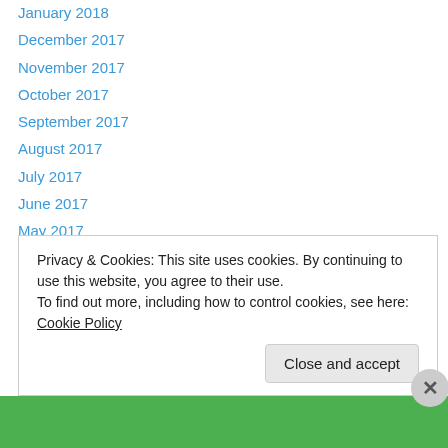January 2018 (partial, cut off at top)
December 2017
November 2017
October 2017
September 2017
August 2017
July 2017
June 2017
May 2017
April 2017
March 2017
February 2017
January 2017
December 2016
Privacy & Cookies: This site uses cookies. By continuing to use this website, you agree to their use.
To find out more, including how to control cookies, see here: Cookie Policy
Close and accept